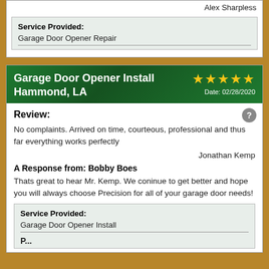Alex Sharpless
| Service Provided: |
| --- |
| Garage Door Opener Repair |
Garage Door Opener Install Hammond, LA ★★★★★ Date: 02/28/2020
Review:
No complaints. Arrived on time, courteous, professional and thus far everything works perfectly
Jonathan Kemp
A Response from: Bobby Boes
Thats great to hear Mr. Kemp. We coninue to get better and hope you will always choose Precision for all of your garage door needs!
| Service Provided: |
| --- |
| Garage Door Opener Install |